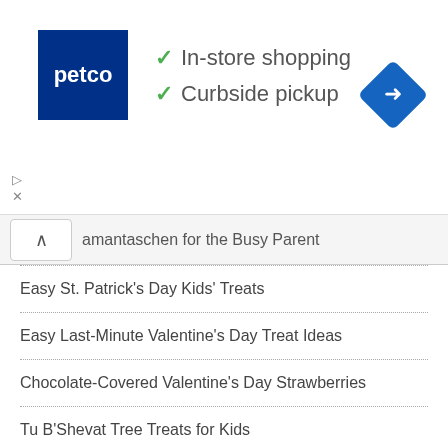[Figure (other): Petco advertisement banner with logo, checkmarks for In-store shopping and Curbside pickup, and a navigation arrow icon]
amantaschen for the Busy Parent
Easy St. Patrick's Day Kids' Treats
Easy Last-Minute Valentine's Day Treat Ideas
Chocolate-Covered Valentine's Day Strawberries
Tu B'Shevat Tree Treats for Kids
Christmas Holiday Mocktails
Christmas S'Mores for Kids